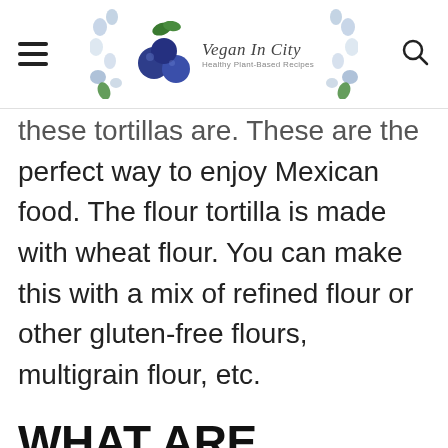Vegan In City — Healthy Plant-Based Recipes
these tortillas are. These are the perfect way to enjoy Mexican food. The flour tortilla is made with wheat flour. You can make this with a mix of refined flour or other gluten-free flours, multigrain flour, etc.
WHAT ARE VEGAN FLOUR